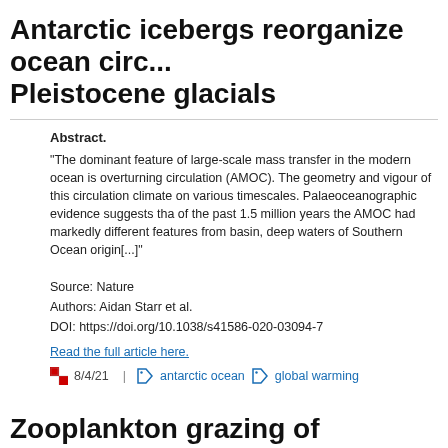Antarctic icebergs reorganize ocean circulation during Pleistocene glacials
Abstract.
"The dominant feature of large-scale mass transfer in the modern ocean is overturning circulation (AMOC). The geometry and vigour of this circulation climate on various timescales. Palaeoceanographic evidence suggests that of the past 1.5 million years the AMOC had markedly different features from basin, deep waters of Southern Ocean origin[...]"
Source: Nature
Authors: Aidan Starr et al.
DOI: https://doi.org/10.1038/s41586-020-03094-7
Read the full article here.
8/4/21   |   antarctic ocean   global warming
Zooplankton grazing of microplastic can affect ocean oxygen
Abstract.
"Global warming has driven a loss of dissolved oxygen in the ocean in rece